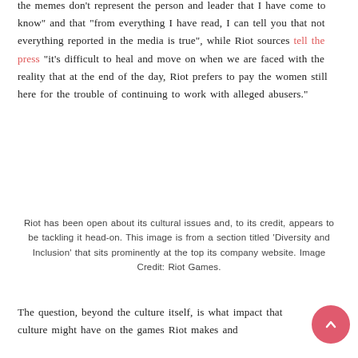the memes don't represent the person and leader that I have come to know" and that "from everything I have read, I can tell you that not everything reported in the media is true", while Riot sources tell the press "it's difficult to heal and move on when we are faced with the reality that at the end of the day, Riot prefers to pay the women still here for the trouble of continuing to work with alleged abusers."
Riot has been open about its cultural issues and, to its credit, appears to be tackling it head-on. This image is from a section titled 'Diversity and Inclusion' that sits prominently at the top its company website. Image Credit: Riot Games.
The question, beyond the culture itself, is what impact that culture might have on the games Riot makes and